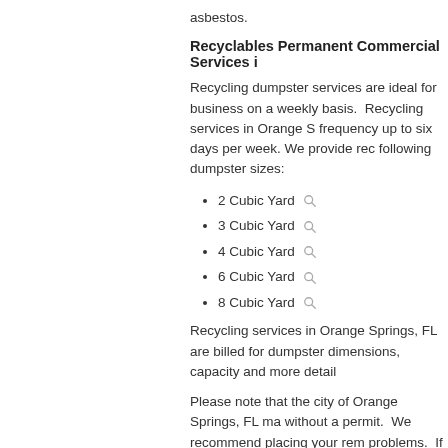asbestos.
Recyclables Permanent Commercial Services i...
Recycling dumpster services are ideal for business... on a weekly basis. Recycling services in Orange S... frequency up to six days per week. We provide rec... following dumpster sizes:
2 Cubic Yard
3 Cubic Yard
4 Cubic Yard
6 Cubic Yard
8 Cubic Yard
Recycling services in Orange Springs, FL are billed... for dumpster dimensions, capacity and more detail...
Please note that the city of Orange Springs, FL ma... without a permit. We recommend placing your rem... problems. If that is not an option we highly recomm... Orange Springs, FL to inquire about permit require... without a permit may be required to be removed w...
Our goal is to streamline and simplify the dumpste... have achieved this goal by combining the ease an... industry. We accept all major credit cards enablin...